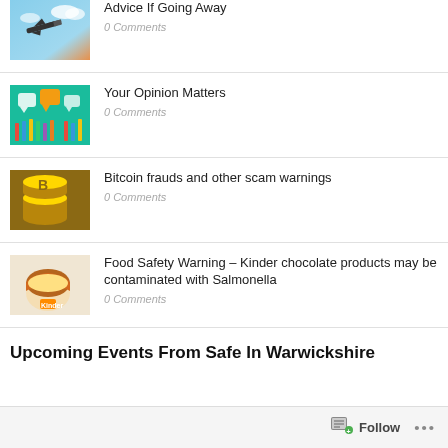Advice If Going Away
0 Comments
Your Opinion Matters
0 Comments
Bitcoin frauds and other scam warnings
0 Comments
Food Safety Warning – Kinder chocolate products may be contaminated with Salmonella
0 Comments
Upcoming Events From Safe In Warwickshire
Follow  ...